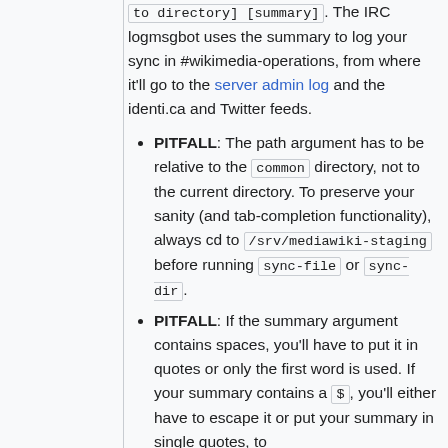to directory] [summary] . The IRC logmsgbot uses the summary to log your sync in #wikimedia-operations, from where it'll go to the server admin log and the identi.ca and Twitter feeds.
PITFALL: The path argument has to be relative to the common directory, not to the current directory. To preserve your sanity (and tab-completion functionality), always cd to /srv/mediawiki-staging before running sync-file or sync-dir .
PITFALL: If the summary argument contains spaces, you'll have to put it in quotes or only the first word is used. If your summary contains a $ , you'll either have to escape it or put your summary in single quotes, to